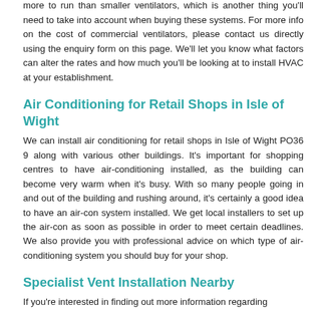bigger and will take longer to fit. Additionally these may also cost more to run than smaller ventilators, which is another thing you'll need to take into account when buying these systems. For more info on the cost of commercial ventilators, please contact us directly using the enquiry form on this page. We'll let you know what factors can alter the rates and how much you'll be looking at to install HVAC at your establishment.
Air Conditioning for Retail Shops in Isle of Wight
We can install air conditioning for retail shops in Isle of Wight PO36 9 along with various other buildings. It's important for shopping centres to have air-conditioning installed, as the building can become very warm when it's busy. With so many people going in and out of the building and rushing around, it's certainly a good idea to have an air-con system installed. We get local installers to set up the air-con as soon as possible in order to meet certain deadlines. We also provide you with professional advice on which type of air-conditioning system you should buy for your shop.
Specialist Vent Installation Nearby
If you're interested in finding out more information regarding